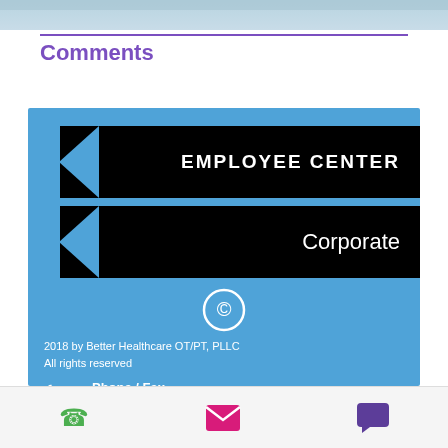[Figure (photo): Partial photo at top of page, landscape/outdoor scene in muted blues]
Comments
[Figure (infographic): Blue box with two black arrow banners labeled EMPLOYEE CENTER and Corporate, copyright symbol, copyright text, and phone/fax contact information for Better Healthcare OT/PT, PLLC]
2018 by Better Healthcare OT/PT, PLLC
All rights reserved
Phone / Fax
T: (877) 247-5522
F: (914) 373-6521
[Figure (infographic): Bottom toolbar with phone (green), email (magenta), and chat (purple) icons]